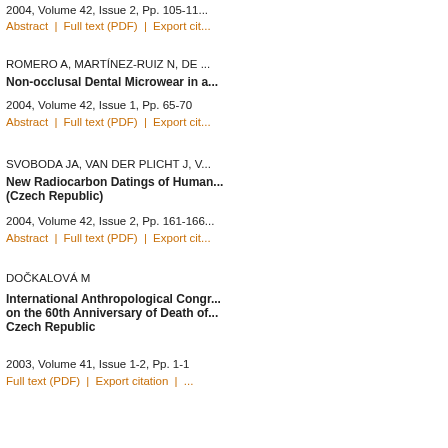2004, Volume 42, Issue 2, Pp. 105-11...
Abstract | Full text (PDF) | Export cit...
ROMERO A, MARTÍNEZ-RUIZ N, DE ...
Non-occlusal Dental Microwear in a...
2004, Volume 42, Issue 1, Pp. 65-70
Abstract | Full text (PDF) | Export cit...
SVOBODA JA, VAN DER PLICHT J, V...
New Radiocarbon Datings of Human... (Czech Republic)
2004, Volume 42, Issue 2, Pp. 161-166
Abstract | Full text (PDF) | Export cit...
DOČKALOVÁ M
International Anthropological Congr... on the 60th Anniversary of Death of... Czech Republic
2003, Volume 41, Issue 1-2, Pp. 1-1
Full text (PDF) | Export citation | ...